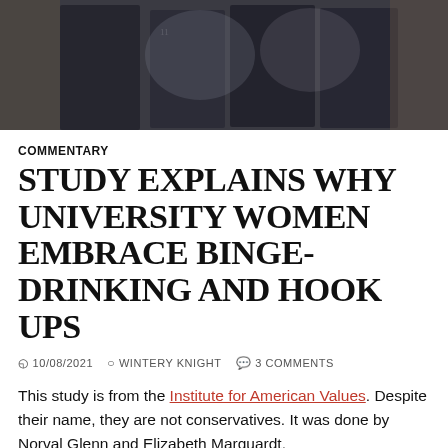[Figure (photo): Photo of books being held open, dark toned image]
COMMENTARY
STUDY EXPLAINS WHY UNIVERSITY WOMEN EMBRACE BINGE-DRINKING AND HOOK UPS
10/08/2021  WINTERY KNIGHT  3 COMMENTS
This study is from the Institute for American Values. Despite their name, they are not conservatives. It was done by Norval Glenn and Elizabeth Marquardt.
If you download the 88 page PDF, the first few pages are an executive summary.